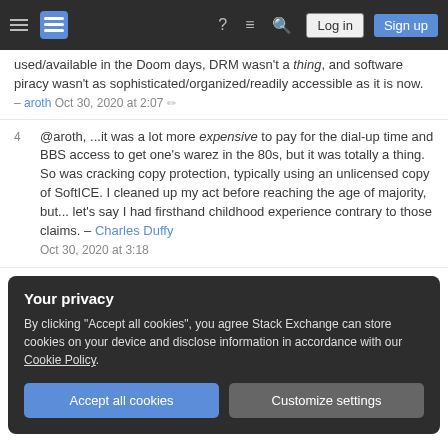Stack Exchange navigation bar with hamburger menu, logo, help, feedback, search, Log in, Sign up buttons
used/available in the Doom days, DRM wasn't a thing, and software piracy wasn't as sophisticated/organized/readily accessible as it is now. – aroth Oct 30, 2020 at 2:07
4 @aroth, ...it was a lot more expensive to pay for the dial-up time and BBS access to get one's warez in the 80s, but it was totally a thing. So was cracking copy protection, typically using an unlicensed copy of SoftICE. I cleaned up my act before reaching the age of majority, but... let's say I had firsthand childhood experience contrary to those claims. – Charles Duffy Oct 30, 2020 at 3:18
Your privacy
By clicking "Accept all cookies", you agree Stack Exchange can store cookies on your device and disclose information in accordance with our Cookie Policy.
Accept all cookies   Customize settings
One sidenote to all the other comments and unrelated